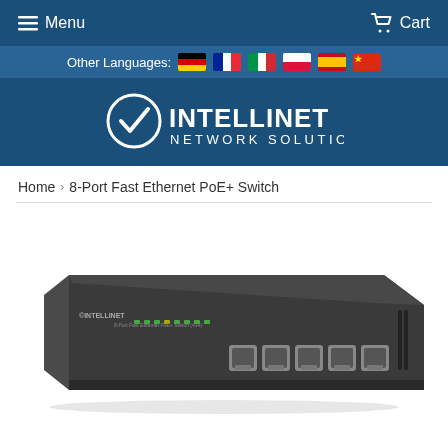Menu   Cart
Other Languages: 🇩🇪 🇫🇷 🇮🇹 🇵🇱 🇪🇸 🇨🇳
[Figure (logo): Intellinet Network Solutions logo — white checkmark in circle with 'INTELLINET' and 'NETWORK SOLUTIONS' text on dark blue background]
Home › 8-Port Fast Ethernet PoE+ Switch
[Figure (photo): 8-Port Fast Ethernet PoE+ Switch hardware product photograph — dark grey/black rackmount network switch with 8 ethernet ports on front panel, Intellinet branding label visible]